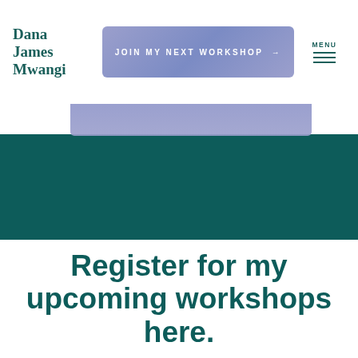Dana James Mwangi
JOIN MY NEXT WORKSHOP →
MENU
[Figure (other): Teal/dark green banner background section]
Register for my upcoming workshops here.